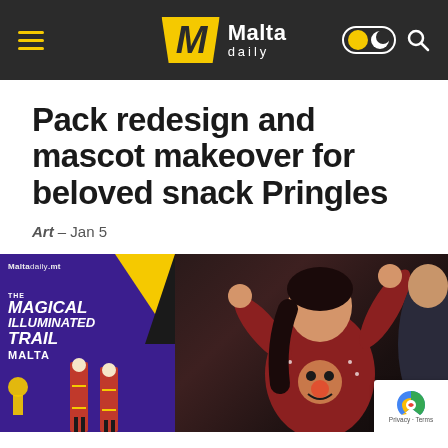Malta daily
Pack redesign and mascot makeover for beloved snack Pringles
Art – Jan 5
[Figure (photo): Composite image showing Malta daily watermark, left panel with The Magical Illuminated Trail Malta text on purple background with characters, right panel showing a woman dancing in a reindeer sweater]